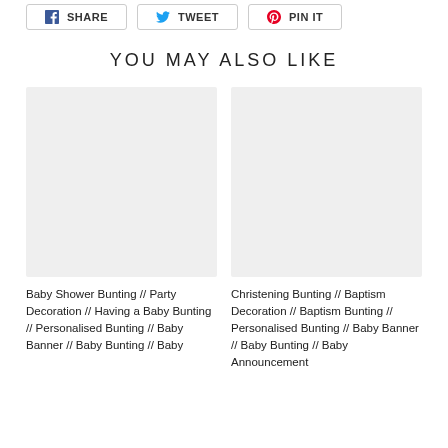[Figure (other): Share buttons row: Facebook SHARE, Twitter TWEET, Pinterest PIN IT]
YOU MAY ALSO LIKE
[Figure (photo): Blank product image placeholder for Baby Shower Bunting product]
Baby Shower Bunting // Party Decoration // Having a Baby Bunting // Personalised Bunting // Baby Banner // Baby Bunting // Baby
[Figure (photo): Blank product image placeholder for Christening Bunting product]
Christening Bunting // Baptism Decoration // Baptism Bunting // Personalised Bunting // Baby Banner // Baby Bunting // Baby Announcement